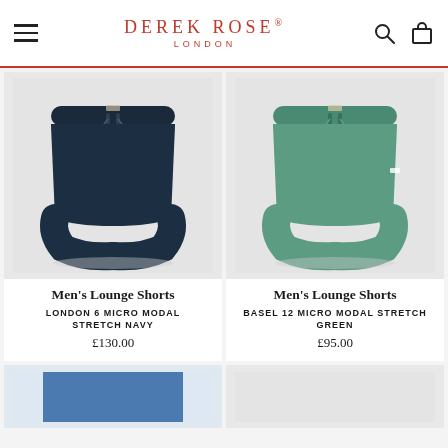DEREK ROSE® LONDON
[Figure (photo): Navy blue men's lounge shorts with elastic waistband and drawstring tie, product shot on light grey background]
Men's Lounge Shorts
LONDON 6 MICRO MODAL STRETCH NAVY
£130.00
[Figure (photo): Green men's lounge shorts with elastic waistband and drawstring tie, product shot on light grey background]
Men's Lounge Shorts
BASEL 12 MICRO MODAL STRETCH GREEN
£95.00
[Figure (photo): Partially visible blue men's lounge shorts, bottom of page]
[Figure (photo): Partially visible product, bottom of page]